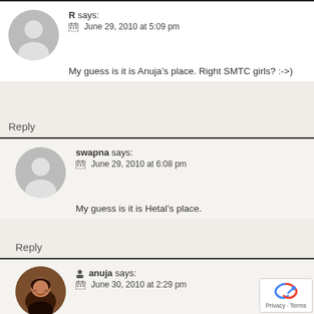R says: June 29, 2010 at 5:09 pm
My guess is it is Anuja’s place. Right SMTC girls? :->)
Reply
swapna says: June 29, 2010 at 6:08 pm
My guess is it is Hetal’s place.
Reply
anuja says: June 30, 2010 at 2:29 pm
Our lips are sealed 😘